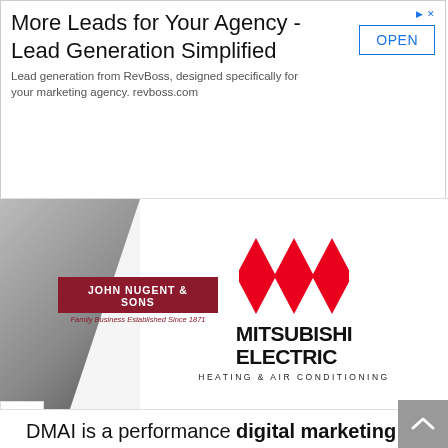[Figure (screenshot): Advertisement banner: 'More Leads for Your Agency - Lead Generation Simplified' with OPEN button, from RevBoss]
[Figure (logo): John Nugent & Sons logo and Mitsubishi Electric Heating & Air Conditioning logo side by side on a grey/white background]
DMAI is a performance digital marketing company specialising in highly effective online ad campaigns and digital experiences.
With a group of experienced in-house experts nearby, we are the go-to office with regards to creating high-converting campaigns adjusted towards creating the best ROI for goal-oriented brands around the globe, letting loose them to